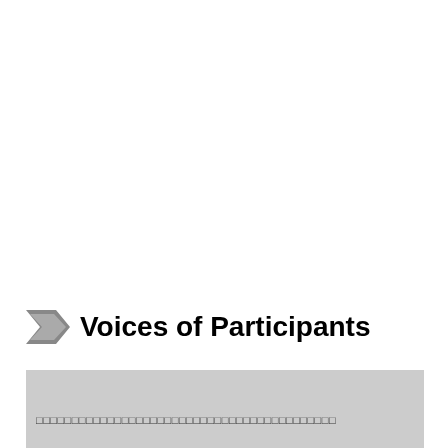Voices of Participants
□□□□□□□□□□□□□□□□□□□□□□□□□□□□□□□□□□□□□□□□